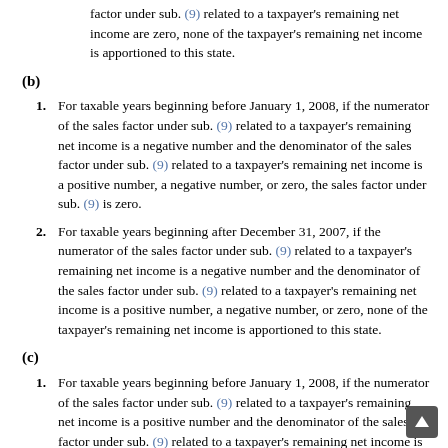factor under sub. (9) related to a taxpayer's remaining net income are zero, none of the taxpayer's remaining net income is apportioned to this state.
(b)
1. For taxable years beginning before January 1, 2008, if the numerator of the sales factor under sub. (9) related to a taxpayer's remaining net income is a negative number and the denominator of the sales factor under sub. (9) related to a taxpayer's remaining net income is a positive number, a negative number, or zero, the sales factor under sub. (9) is zero.
2. For taxable years beginning after December 31, 2007, if the numerator of the sales factor under sub. (9) related to a taxpayer's remaining net income is a negative number and the denominator of the sales factor under sub. (9) related to a taxpayer's remaining net income is a positive number, a negative number, or zero, none of the taxpayer's remaining net income is apportioned to this state.
(c)
1. For taxable years beginning before January 1, 2008, if the numerator of the sales factor under sub. (9) related to a taxpayer's remaining net income is a positive number and the denominator of the sales factor under sub. (9) related to a taxpayer's remaining net income is zero or a negative number, the sales factor under sub. (9) is one.